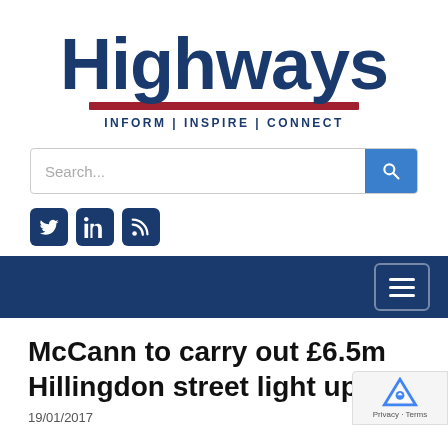[Figure (logo): Highways magazine logo with dark blue bold text, red underline bar, and tagline INFORM | INSPIRE | CONNECT]
[Figure (screenshot): Search bar with placeholder text 'Search...' and blue search button with magnifying glass icon]
[Figure (screenshot): Social media icons: Twitter, LinkedIn, RSS feed — dark navy square icons]
[Figure (screenshot): Dark navy navigation bar with hamburger menu button on the right]
McCann to carry out £6.5m Hillingdon street light upgrad
19/01/2017